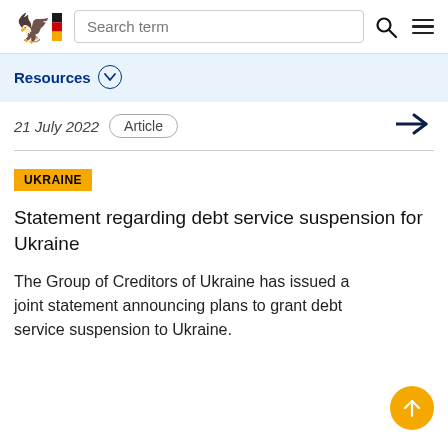Search term
Resources
21 July 2022  Article
UKRAINE
Statement regarding debt service suspension for Ukraine
The Group of Creditors of Ukraine has issued a joint statement announcing plans to grant debt service suspension to Ukraine.